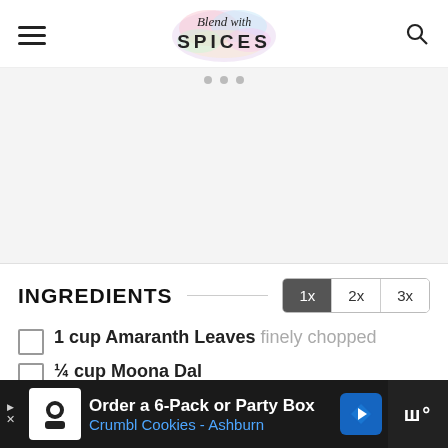Blend with SPICES
[Figure (photo): Blank/placeholder image area with three gray navigation dots at the top]
INGREDIENTS
1 cup Amaranth Leaves finely chopped
¼ cup Moona Dal
[Figure (infographic): Advertisement banner: Order a 6-Pack or Party Box - Crumbl Cookies - Ashburn]